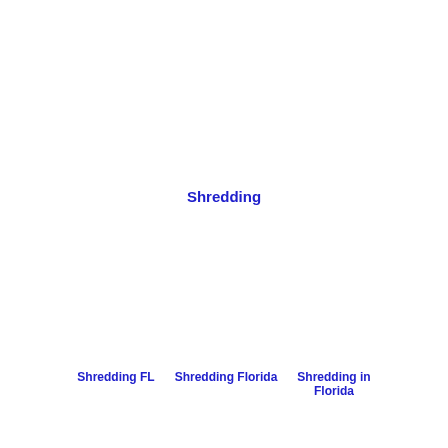Shredding
Shredding FL
Shredding Florida
Shredding in Florida